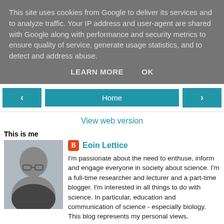This site uses cookies from Google to deliver its services and to analyze traffic. Your IP address and user-agent are shared with Google along with performance and security metrics to ensure quality of service, generate usage statistics, and to detect and address abuse.
LEARN MORE   OK
Home
View web version
This is me
[Figure (photo): Profile photo of Eoin Lettice, a man with glasses wearing a dark sweater]
Eoin Lettice
I'm passionate about the need to enthuse, inform and engage everyone in society about science. I'm a full-time researcher and lecturer and a part-time blogger. I'm interested in all things to do with science. In particular, education and communication of science - especially biology. This blog represents my personal views.
View my complete profile